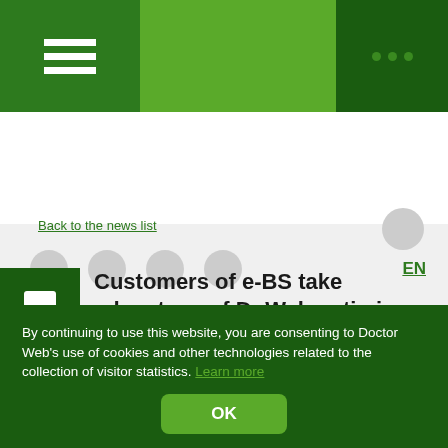[Figure (screenshot): Green top navigation bar with hamburger menu on left, Dr.Web logo area in center, and dark green area with dots on right]
[Figure (screenshot): Light grey navigation/search bar with circular placeholder icons and EN language selector]
Back to the news list
Customers of e-BS take advantage of Dr.Web anti-virus
December 8, 2008
Now Dr.Web AV-Desk delivers the anti-virus service to customers of e-BS company (translated from Russian as electronic business systems), providing continuation of
By continuing to use this website, you are consenting to Doctor Web's use of cookies and other technologies related to the collection of visitor statistics. Learn more
OK